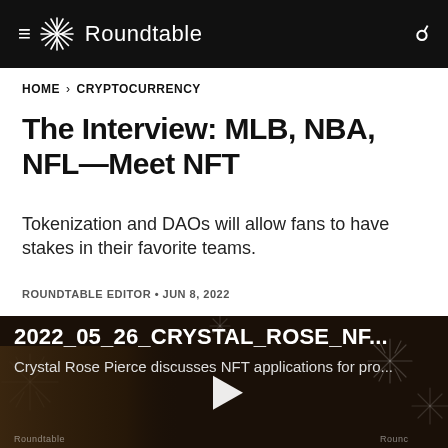Roundtable
HOME › CRYPTOCURRENCY
The Interview: MLB, NBA, NFL—Meet NFT
Tokenization and DAOs will allow fans to have stakes in their favorite teams.
ROUNDTABLE EDITOR • JUN 8, 2022
[Figure (screenshot): Video thumbnail showing '2022_05_26_CRYSTAL_ROSE_NF...' with subtitle 'Crystal Rose Pierce discusses NFT applications for pro...' and a play button, with a woman wearing a hat visible in the lower left. Roundtable watermarks visible in background.]